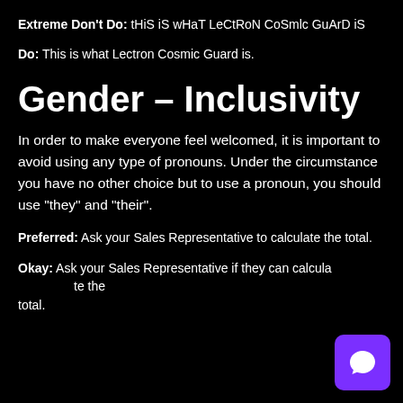Extreme Don't Do: tHiS iS wHaT LeCtRoN CoSmlc GuArD iS
Do: This is what Lectron Cosmic Guard is.
Gender – Inclusivity
In order to make everyone feel welcomed, it is important to avoid using any type of pronouns. Under the circumstance you have no other choice but to use a pronoun, you should use “they” and “their”.
Preferred: Ask your Sales Representative to calculate the total.
Okay: Ask your Sales Representative if they can calculate the total.